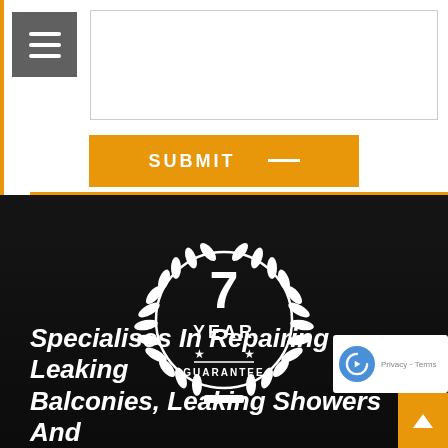[Figure (screenshot): Hamburger menu button (gray square with three white horizontal lines)]
[Figure (screenshot): White input text box area]
SUBMIT —
[Figure (illustration): 7 YEAR GUARANTEE badge/seal with laurel wreath in white on dark background]
Specialises In Repairing Leaking Balconies, Leaking Showers And